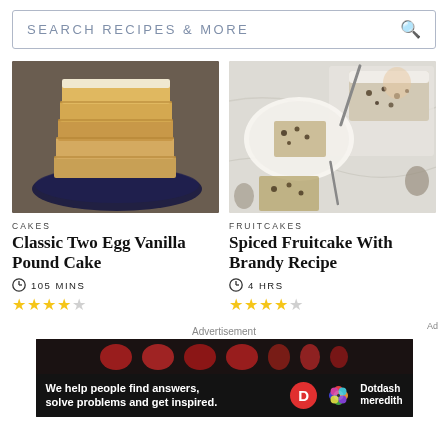SEARCH RECIPES & MORE
[Figure (photo): Stacked slices of golden pound cake on a dark blue plate on a stone surface]
CAKES
Classic Two Egg Vanilla Pound Cake
105 MINS
3.5 out of 5 stars
[Figure (photo): Top-down view of fruitcake slices on plates with a knife, fork, wine glasses, and pine cone decorations on a marble surface]
FRUITCAKES
Spiced Fruitcake With Brandy Recipe
4 HRS
4.5 out of 5 stars
Advertisement
[Figure (screenshot): Dotdash Meredith advertisement banner: 'We help people find answers, solve problems and get inspired.' with Dotdash Meredith logo]